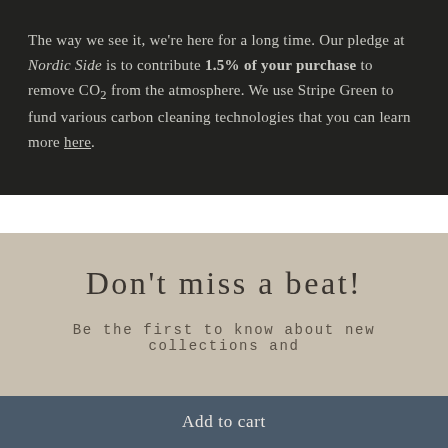The way we see it, we're here for a long time. Our pledge at Nordic Side is to contribute 1.5% of your purchase to remove CO₂ from the atmosphere. We use Stripe Green to fund various carbon cleaning technologies that you can learn more here.
Don't miss a beat!
Be the first to know about new collections and
Add to cart